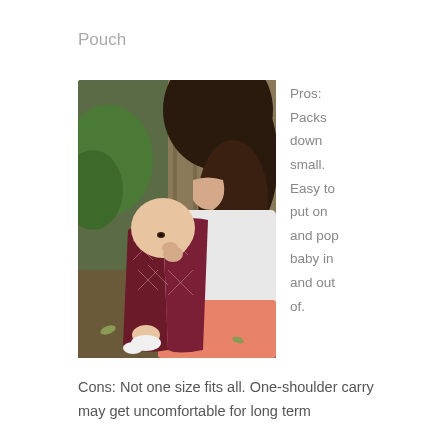Pouch
[Figure (photo): A woman carrying a baby in a dark red/maroon patterned pouch sling carrier, standing outdoors with greenery in the background.]
Pros: Packs down small. Easy to put on and pop baby in and out of.
Cons: Not one size fits all. One-shoulder carry may get uncomfortable for long term